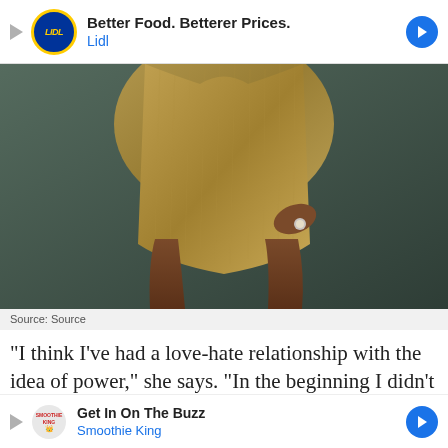[Figure (other): Lidl advertisement banner: Better Food. Betterer Prices. Lidl]
[Figure (photo): Person wearing a gold/silver metallic bodycon dress, photographed from torso down, against a dark grey-green background. The person's hand holds the hem of the dress.]
Source: Source
“I think I’ve had a love-hate relationship with the idea of power,” she says. “In the beginning I didn’t like it when they said that my sister and I were power player…a Sales…
[Figure (other): Smoothie King advertisement banner: Get In On The Buzz. Smoothie King]